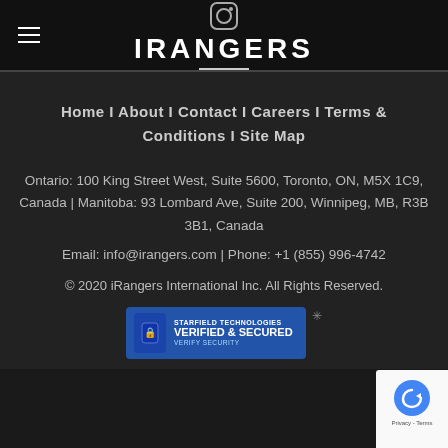iRANGERS
Home I About I Contact I Careers I Terms & Conditions I Site Map
Ontario: 100 King Street West, Suite 5600, Toronto, ON, M5X 1C9, Canada | Manitoba: 93 Lombard Ave, Suite 200, Winnipeg, MB, R3B 3B1, Canada
Email: info@irangers.com | Phone: +1 (855) 996-4742
© 2020 iRangers International Inc. All Rights Reserved.
[Figure (logo): Starfield Technologies Verified & Secured badge with lock icon]
[Figure (logo): reCAPTCHA badge with blue circular arrow icon]